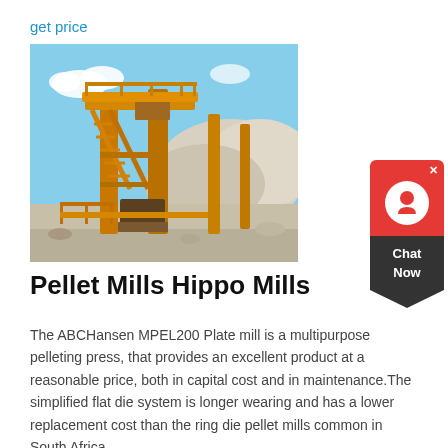get price
[Figure (photo): Industrial mining equipment — a large yellow metal structure with stairs/ladders and platforms, set in an open quarry/mining site with white stone/gravel piles and a blue sky background.]
Pellet Mills Hippo Mills
The ABCHansen MPEL200 Plate mill is a multipurpose pelleting press, that provides an excellent product at a reasonable price, both in capital cost and in maintenance.The simplified flat die system is longer wearing and has a lower replacement cost than the ring die pellet mills common in South Africa.